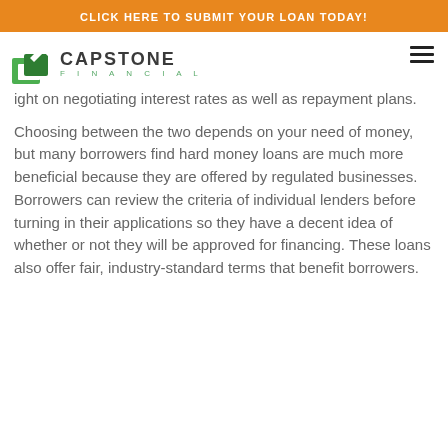CLICK HERE TO SUBMIT YOUR LOAN TODAY!
[Figure (logo): Capstone Financial logo with green arrow/box icon and company name]
ight on negotiating interest rates as well as repayment plans.
Choosing between the two depends on your need of money, but many borrowers find hard money loans are much more beneficial because they are offered by regulated businesses. Borrowers can review the criteria of individual lenders before turning in their applications so they have a decent idea of whether or not they will be approved for financing. These loans also offer fair, industry-standard terms that benefit borrowers.